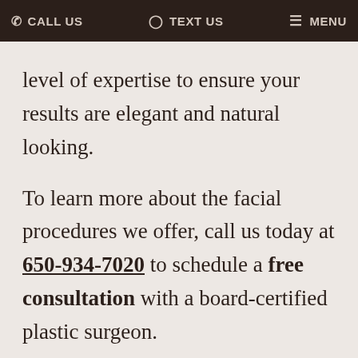CALL US   TEXT US   MENU
level of expertise to ensure your results are elegant and natural looking.
To learn more about the facial procedures we offer, call us today at 650-934-7020 to schedule a free consultation with a board-certified plastic surgeon.
We welcome patients from the Silicon Valley and Bay Area, including Palo Alto, Mountain View, Sunnyvale and San Francisco, California...